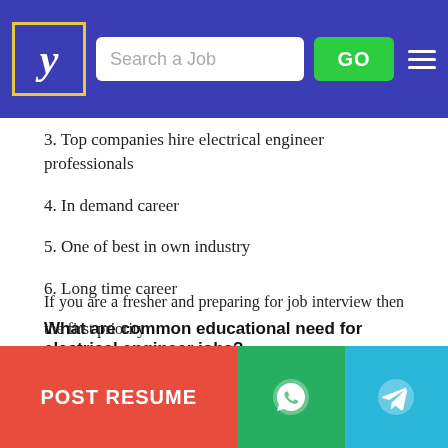[Figure (screenshot): Website header with logo (stylized y in gold-bordered box), search bar labeled 'Search a Job', green GO button, and hamburger menu on blue/purple background]
3. Top companies hire electrical engineer professionals
4. In demand career
5. One of best in own industry
6. Long time career
What are common educational need for electrical engineer jobs?
If are you a fresher and your education is 8th Pass, 10th Pass, 12th Pass, B.E/B.Tech, MBA, MCA, BBA, BCA ,M.E/M.Tech, M.Sc, B.Ssc, B.com, M.Com then Indian companies always welcome you to show your skills.
Ho...ing ew...
If you are a fresher and preparing for job interview then the first priority